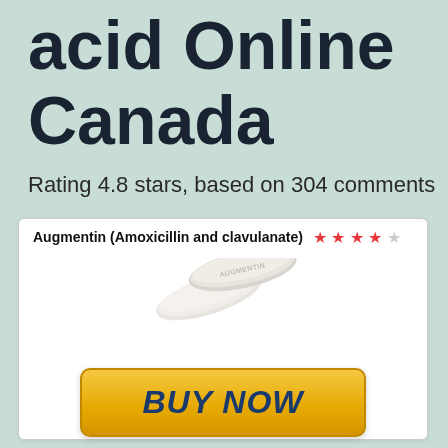acid Online Canada
Rating 4.8 stars, based on 304 comments
[Figure (illustration): Product card for Augmentin (Amoxicillin and clavulanate) with 4-star rating, image of two white oval tablets labeled AUGMENTIN, and a yellow BUY NOW button]